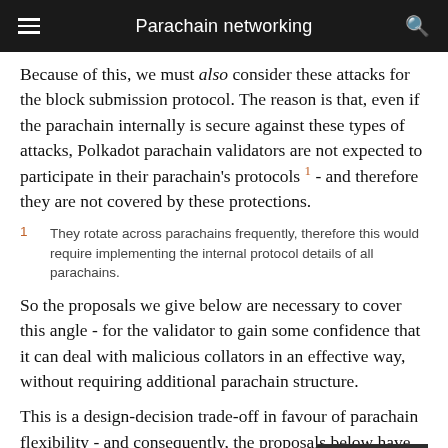Parachain networking
Because of this, we must also consider these attacks for the block submission protocol. The reason is that, even if the parachain internally is secure against these types of attacks, Polkadot parachain validators are not expected to participate in their parachain’s protocols 1 - and therefore they are not covered by these protections.
1   They rotate across parachains frequently, therefore this would require implementing the internal protocol details of all parachains.
So the proposals we give below are necessary to cover this angle - for the validator to gain some confidence that it can deal with malicious collators in an effective way, without requiring additional parachain structure.
This is a design-decision trade-off in favour of parachain flexibility - and consequently, the proposals below have to be...